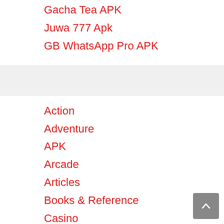Gacha Tea APK
Juwa 777 Apk
GB WhatsApp Pro APK
Action
Adventure
APK
Arcade
Articles
Books & Reference
Casino
Dating